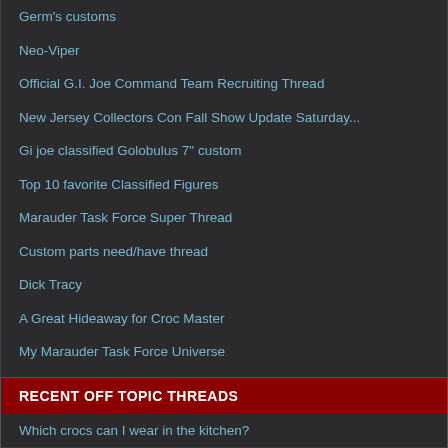Germ's customs
Neo-Viper
Official G.I. Joe Command Team Recruiting Thread
New Jersey Collectors Con Fall Show Update Saturday...
Gi joe classified Golobulus 7" custom
Top 10 favorite Classified Figures
Marauder Task Force Super Thread
Custom parts need/have thread
Dick Tracy
A Great Hideaway for Croc Master
My Marauder Task Force Universe
Zpartikuz? Easy Customs and Upgrades
Robâ€™s Joes Marauders Style
Super7 Cobra Enemy T-Shirt
Which vehicle would you like to drive yourself?
RECENT OFF TOPIC THREADS
Which crocs can I wear in the kitchen?